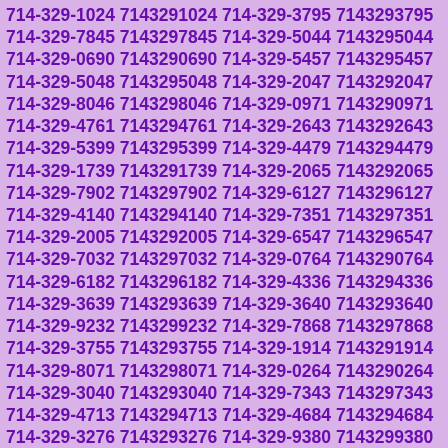714-329-1024 7143291024 714-329-3795 7143293795 714-329-7845 7143297845 714-329-5044 7143295044 714-329-0690 7143290690 714-329-5457 7143295457 714-329-5048 7143295048 714-329-2047 7143292047 714-329-8046 7143298046 714-329-0971 7143290971 714-329-4761 7143294761 714-329-2643 7143292643 714-329-5399 7143295399 714-329-4479 7143294479 714-329-1739 7143291739 714-329-2065 7143292065 714-329-7902 7143297902 714-329-6127 7143296127 714-329-4140 7143294140 714-329-7351 7143297351 714-329-2005 7143292005 714-329-6547 7143296547 714-329-7032 7143297032 714-329-0764 7143290764 714-329-6182 7143296182 714-329-4336 7143294336 714-329-3639 7143293639 714-329-3640 7143293640 714-329-9232 7143299232 714-329-7868 7143297868 714-329-3755 7143293755 714-329-1914 7143291914 714-329-8071 7143298071 714-329-0264 7143290264 714-329-3040 7143293040 714-329-7343 7143297343 714-329-4713 7143294713 714-329-4684 7143294684 714-329-3276 7143293276 714-329-9380 7143299380 714-329-0554 7143290554 714-329-0087 7143290087